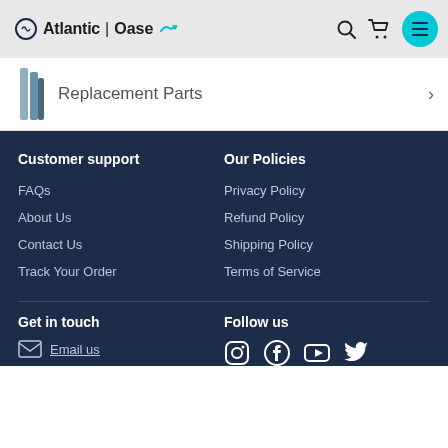Atlantic Oase
Replacement Parts
Customer support
FAQs
About Us
Contact Us
Track Your Order
Our Policies
Privacy Policy
Refund Policy
Shipping Policy
Terms of Service
Get in touch
Email us
Follow us